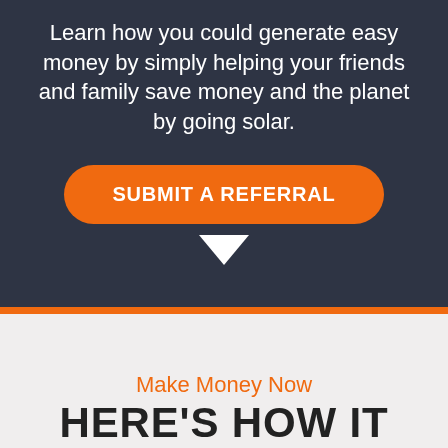Learn how you could generate easy money by simply helping your friends and family save money and the planet by going solar.
SUBMIT A REFERRAL
[Figure (other): Downward pointing arrow chevron icon in white]
Make Money Now
HERE'S HOW IT